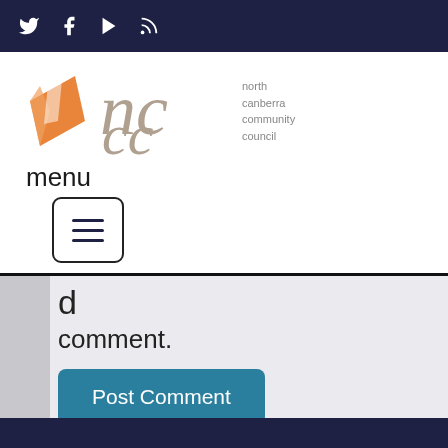Social media icons: Twitter, Facebook, YouTube, RSS
[Figure (logo): North Canberra Community Council logo with orange geometric shape and stylized 'nccc' text]
menu
[Figure (other): Hamburger menu button icon with three horizontal lines in a rounded square border]
d
comment.
Post Comment